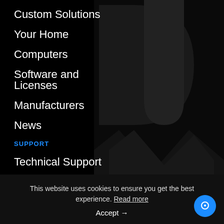Custom Solutions
Your Home
Computers
Software and Licenses
Manufacturers
News
SUPPORT
Technical Support
Delivery & Returns
FAQs
[Figure (illustration): Large decorative typographic letters in dark grey on black background, showing what appears to be parts of the letters 'D' and 'R' or similar characters rendered at very large scale]
This website uses cookies to ensure you get the best experience. Read more
Accept →